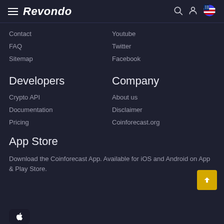Revondo
Contact
FAQ
Sitemap
Youtube
Twitter
Facebook
Developers
Company
Crypto API
Documentation
Pricing
About us
Disclaimer
Coinforecast.org
App Store
Download the Coinforecast App. Available for iOS and Android on App & Play Store.